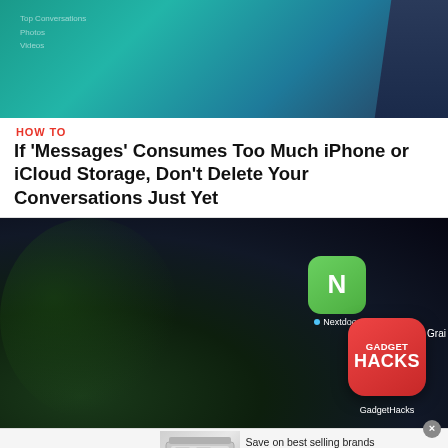[Figure (photo): Partial view of a smartphone screen with teal/blue tones showing some text interface]
HOW TO
If 'Messages' Consumes Too Much iPhone or iCloud Storage, Don't Delete Your Conversations Just Yet
[Figure (photo): Close-up of a smartphone screen showing app icons: Nextdoor (green), OfferUp (teal), GadgetHacks (red), and partially visible Grail app]
[Figure (photo): Wayfair advertisement banner: Top Appliances Low Prices, Save on best selling brands that live up to the hype, Shop now button]